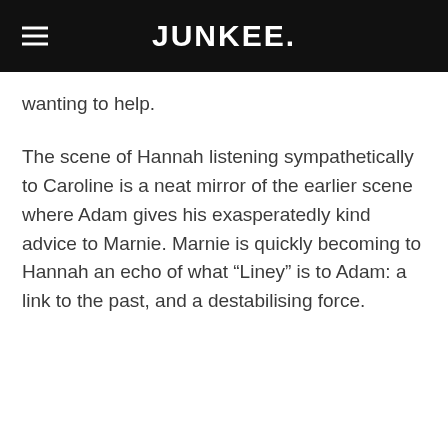JUNKEE.
wanting to help.
The scene of Hannah listening sympathetically to Caroline is a neat mirror of the earlier scene where Adam gives his exasperatedly kind advice to Marnie. Marnie is quickly becoming to Hannah an echo of what “Liney” is to Adam: a link to the past, and a destabilising force.